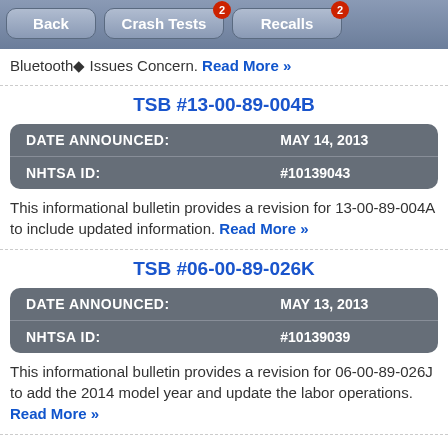Back | Crash Tests (2) | Recalls (2)
Bluetooth Issues Concern. Read More »
TSB #13-00-89-004B
| Field | Value |
| --- | --- |
| DATE ANNOUNCED: | MAY 14, 2013 |
| NHTSA ID: | #10139043 |
This informational bulletin provides a revision for 13-00-89-004A to include updated information. Read More »
TSB #06-00-89-026K
| Field | Value |
| --- | --- |
| DATE ANNOUNCED: | MAY 13, 2013 |
| NHTSA ID: | #10139039 |
This informational bulletin provides a revision for 06-00-89-026J to add the 2014 model year and update the labor operations. Read More »